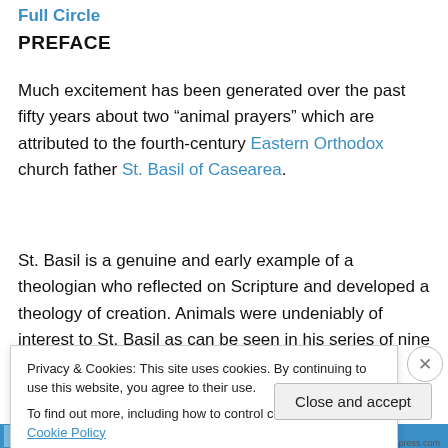Full Circle
PREFACE
Much excitement has been generated over the past fifty years about two “animal prayers” which are attributed to the fourth-century Eastern Orthodox church father St. Basil of Casearea.
St. Basil is a genuine and early example of a theologian who reflected on Scripture and developed a theology of creation. Animals were undeniably of interest to St. Basil as can be seen in his series of nine sermons based on
Privacy & Cookies: This site uses cookies. By continuing to use this website, you agree to their use.
To find out more, including how to control cookies, see here: Cookie Policy
Close and accept